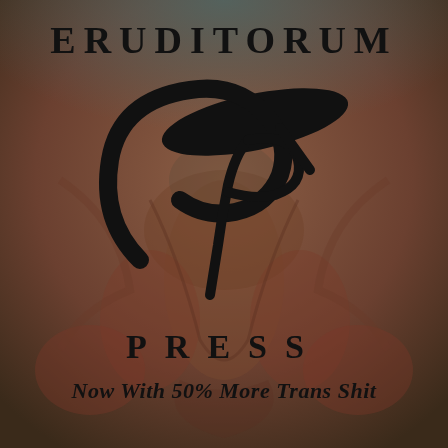[Figure (logo): Eruditorum Press logo: stylized cursive 'EP' monogram in black on a muted anatomical illustration background with teal-brown gradient overlay]
ERUDITORUM
PRESS
Now With 50% More Trans Shit